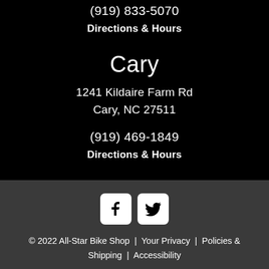(919) 833-5070
Directions & Hours
Cary
1241 Kildaire Farm Rd
Cary, NC 27511
(919) 469-1849
Directions & Hours
[Figure (infographic): Facebook and Twitter social media icon buttons in white rounded square boxes]
© 2022 All-Star Bike Shop  |  Your Privacy  |  Policies & Shipping  |  Accessibility